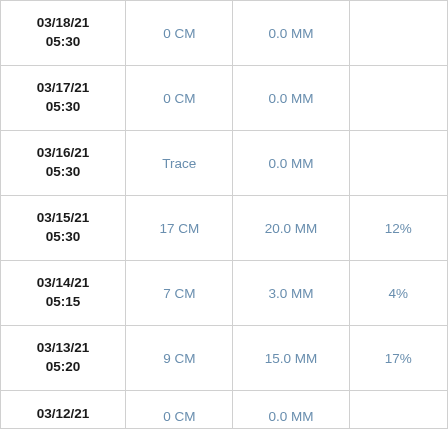| Date | Snow Depth | Precipitation | Percent |
| --- | --- | --- | --- |
| 03/18/21 05:30 | 0 CM | 0.0 MM |  |
| 03/17/21 05:30 | 0 CM | 0.0 MM |  |
| 03/16/21 05:30 | Trace | 0.0 MM |  |
| 03/15/21 05:30 | 17 CM | 20.0 MM | 12% |
| 03/14/21 05:15 | 7 CM | 3.0 MM | 4% |
| 03/13/21 05:20 | 9 CM | 15.0 MM | 17% |
| 03/12/21 ... | 0 CM | 0.0 MM |  |